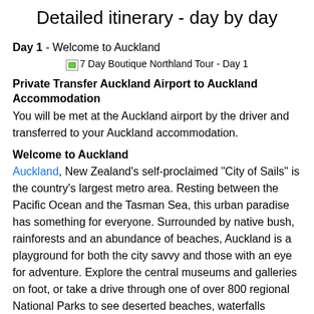Detailed itinerary - day by day
Day 1 - Welcome to Auckland
[Figure (photo): 7 Day Boutique Northland Tour - Day 1 (broken image placeholder)]
Private Transfer Auckland Airport to Auckland Accommodation
You will be met at the Auckland airport by the driver and transferred to your Auckland accommodation.
Welcome to Auckland
Auckland, New Zealand's self-proclaimed "City of Sails" is the country's largest metro area. Resting between the Pacific Ocean and the Tasman Sea, this urban paradise has something for everyone. Surrounded by native bush, rainforests and an abundance of beaches, Auckland is a playground for both the city savvy and those with an eye for adventure. Explore the central museums and galleries on foot, or take a drive through one of over 800 regional National Parks to see deserted beaches, waterfalls and native forests.